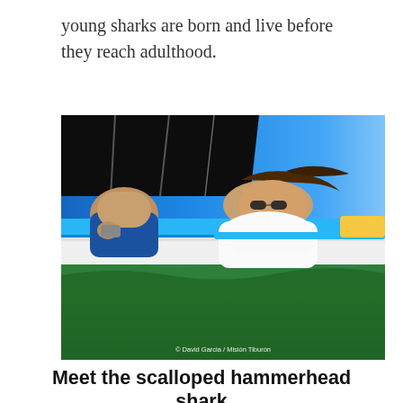young sharks are born and live before they reach adulthood.
[Figure (photo): A woman in a white long-sleeve shirt and sunglasses leans over the side of a blue and white boat, looking into the water. Another person in a blue shirt is visible beside her. A black canopy is overhead. The photo is taken from water level, with green ocean water in the foreground. Photo credit: © David Garcia / Misión Tiburón]
Meet the scalloped hammerhead shark
Ilena researches the scalloped hammerhead shark. Her work helps determine the number of